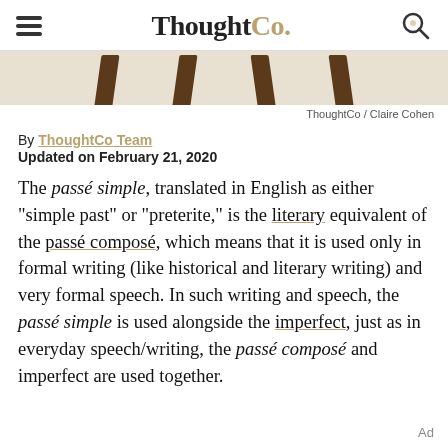ThoughtCo.
[Figure (photo): Partial view of wooden furniture legs (table or chair) against a light background]
ThoughtCo / Claire Cohen
By ThoughtCo Team
Updated on February 21, 2020
The passé simple, translated in English as either "simple past" or "preterite," is the literary equivalent of the passé composé, which means that it is used only in formal writing (like historical and literary writing) and very formal speech. In such writing and speech, the passé simple is used alongside the imperfect, just as in everyday speech/writing, the passé composé and imperfect are used together.
Ad